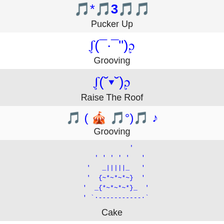Pucker Up (emoji art section)
Grooving (t(-. -") section)
Raise The Roof (emoji art section)
Grooving (second emoji art section)
Cake (ASCII art cake section)